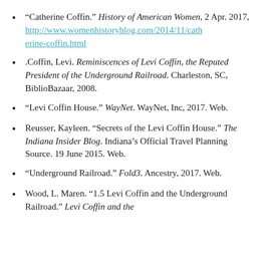“Catherine Coffin.” History of American Women, 2 Apr. 2017, http://www.womenhistoryblog.com/2014/11/catherine-coffin.html
.Coffin, Levi. Reminiscences of Levi Coffin, the Reputed President of the Underground Railroad. Charleston, SC, BiblioBazaar, 2008.
“Levi Coffin House.” WayNet. WayNet, Inc, 2017. Web.
Reusser, Kayleen. “Secrets of the Levi Coffin House.” The Indiana Insider Blog. Indiana’s Official Travel Planning Source. 19 June 2015. Web.
“Underground Railroad.” Fold3. Ancestry, 2017. Web.
Wood, L. Maren. “1.5 Levi Coffin and the Underground Railroad.” Levi Coffin and the